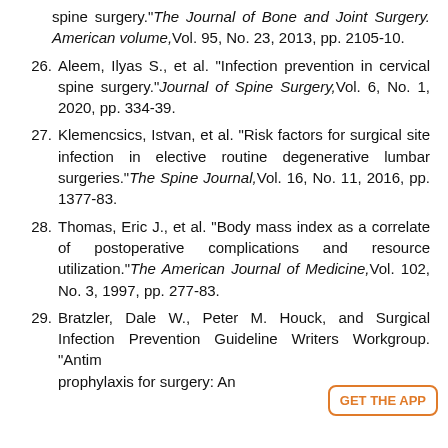(continuation) spine surgery."The Journal of Bone and Joint Surgery. American volume,Vol. 95, No. 23, 2013, pp. 2105-10.
26. Aleem, Ilyas S., et al. "Infection prevention in cervical spine surgery."Journal of Spine Surgery,Vol. 6, No. 1, 2020, pp. 334-39.
27. Klemencsics, Istvan, et al. "Risk factors for surgical site infection in elective routine degenerative lumbar surgeries."The Spine Journal,Vol. 16, No. 11, 2016, pp. 1377-83.
28. Thomas, Eric J., et al. "Body mass index as a correlate of postoperative complications and resource utilization."The American Journal of Medicine,Vol. 102, No. 3, 1997, pp. 277-83.
29. Bratzler, Dale W., Peter M. Houck, and Surgical Infection Prevention Guideline Writers Workgroup. "Antim prophylaxis for surgery: An